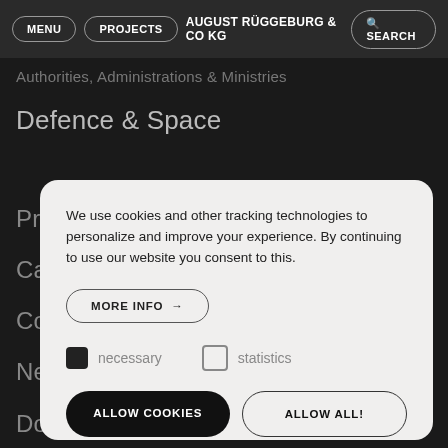MENU | PROJECTS | AUGUST RÜGGEBURG & CO KG | SEARCH
Authorities, Administrations & Ministries
Defence & Space
Press
Career
Contact
News & Events
Downloads
We use cookies and other tracking technologies to personalize and improve your experience. By continuing to use our website you consent to this.
MORE INFO →
necessary
statistics
ALLOW COOKIES
ALLOW ALL!